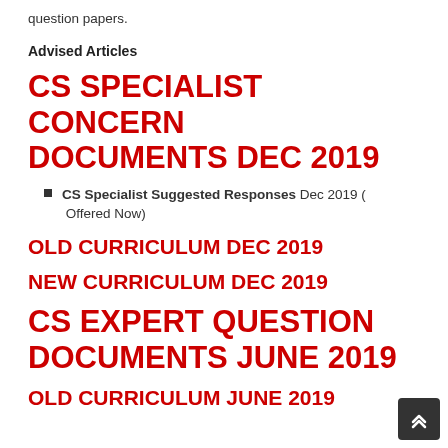question papers.
Advised Articles
CS SPECIALIST CONCERN DOCUMENTS DEC 2019
CS Specialist Suggested Responses Dec 2019 ( Offered Now)
OLD CURRICULUM DEC 2019
NEW CURRICULUM DEC 2019
CS EXPERT QUESTION DOCUMENTS JUNE 2019
OLD CURRICULUM JUNE 2019